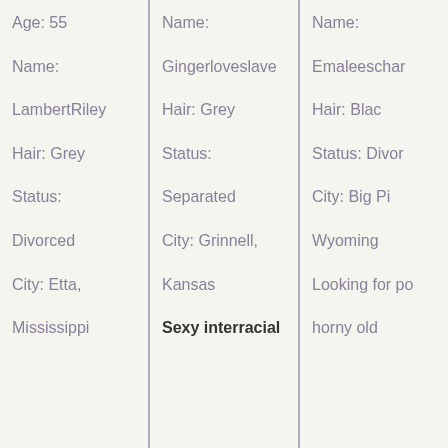Age: 55

Name:
LambertRiley

Hair: Grey

Status:
Divorced

City: Etta,
Mississippi
Name:
Gingerloveslave

Hair: Grey

Status:
Separated

City: Grinnell,
Kansas

Sexy interracial
Name:
Emaleeschar

Hair: Blac

Status: Divor

City: Big Pi
Wyoming

Looking for po
horny old